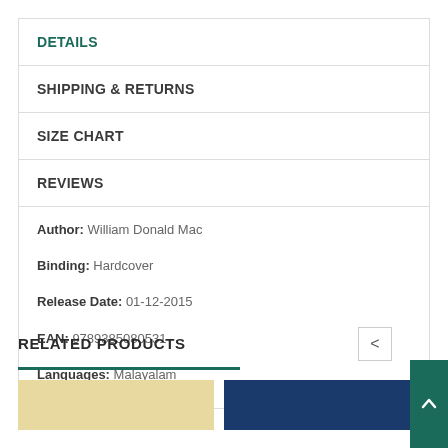DETAILS
SHIPPING & RETURNS
SIZE CHART
REVIEWS
Author: William Donald Mac
Binding: Hardcover
Release Date: 01-12-2015
EAN: 9789385080531
Languages: Malayalam
RELATED PRODUCTS
[Figure (photo): Two book thumbnails under Related Products section]
[Figure (illustration): Back to top button with upward chevron]